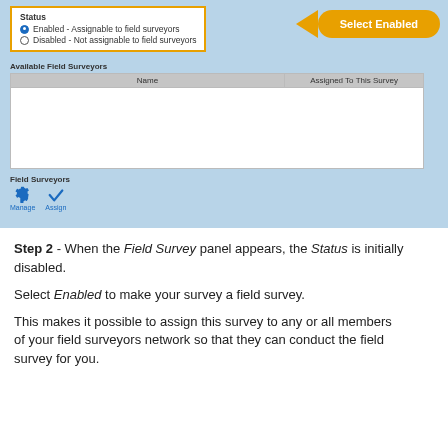[Figure (screenshot): Screenshot of a Field Survey panel showing Status options (Enabled - Assignable to field surveyors selected, Disabled - Not assignable to field surveyors), a callout bubble saying 'Select Enabled', an Available Field Surveyors table with Name and Assigned To This Survey columns, and Field Surveyors section with Manage and Assign icon buttons.]
Step 2 - When the Field Survey panel appears, the Status is initially disabled.
Select Enabled to make your survey a field survey.
This makes it possible to assign this survey to any or all members of your field surveyors network so that they can conduct the field survey for you.